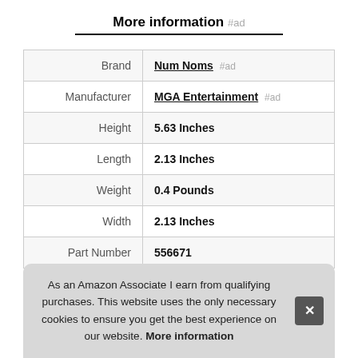More information #ad
| Label | Value |
| --- | --- |
| Brand | Num Noms #ad |
| Manufacturer | MGA Entertainment #ad |
| Height | 5.63 Inches |
| Length | 2.13 Inches |
| Weight | 0.4 Pounds |
| Width | 2.13 Inches |
| Part Number | 556671 |
As an Amazon Associate I earn from qualifying purchases. This website uses the only necessary cookies to ensure you get the best experience on our website. More information